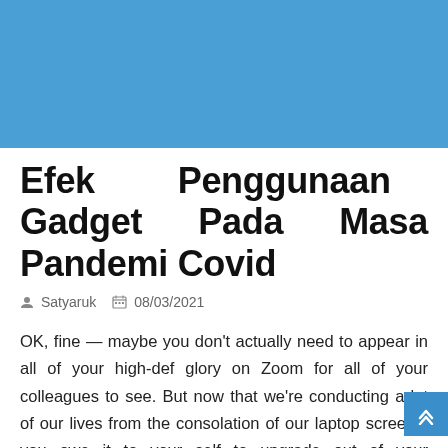[Figure (illustration): Blue rectangular hero image banner at the top of the page]
Efek Penggunaan Gadget Pada Masa Pandemi Covid
Satyaruk  08/03/2021
OK, fine — maybe you don't actually need to appear in all of your high-def glory on Zoom for all of your colleagues to see. But now that we're conducting a lot of our lives from the consolation of our laptop screens, you owe it to your self to upgrade out of your computer's shitty, built-in digicam. After all, it's no longer simply enterprise that is being performed that webcam — it is also long-distance catchup